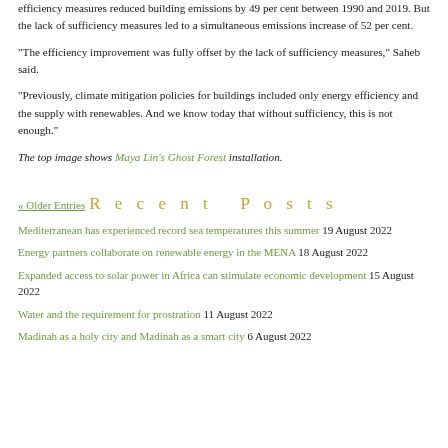efficiency measures reduced building emissions by 49 per cent between 1990 and 2019. But the lack of sufficiency measures led to a simultaneous emissions increase of 52 per cent.
"The efficiency improvement was fully offset by the lack of sufficiency measures," Saheb said.
"Previously, climate mitigation policies for buildings included only energy efficiency and the supply with renewables. And we know today that without sufficiency, this is not enough."
The top image shows Maya Lin's Ghost Forest installation.
« Older Entries
Recent Posts
Mediterranean has experienced record sea temperatures this summer 19 August 2022
Energy partners collaborate on renewable energy in the MENA 18 August 2022
Expanded access to solar power in Africa can stimulate economic development 15 August 2022
Water and the requirement for prostration 11 August 2022
Madinah as a holy city and Madinah as a smart city 6 August 2022